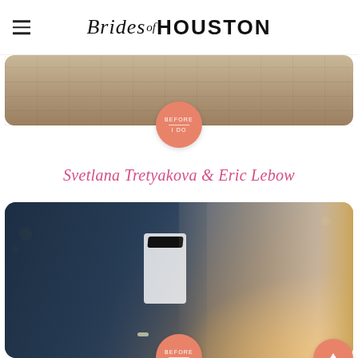Brides of Houston
[Figure (photo): Top portion of a photo showing an outdoor brick/pavement scene, partially visible]
Svetlana Tretyakova & Eric Lebow
[Figure (photo): Wedding couple photo: groom in dark navy tuxedo with black bow tie, bride in white spaghetti strap dress showing bare back, smiling outdoors with warm golden light in background. Two circular salmon/coral badges labeled BEFORE I DO overlaid on the photo, and a coral scroll-to-top button at bottom right.]